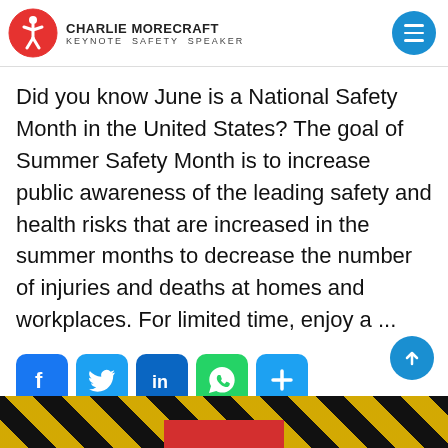CHARLIE MORECRAFT – KEYNOTE SAFETY SPEAKER
Did you know June is a National Safety Month in the United States? The goal of Summer Safety Month is to increase public awareness of the leading safety and health risks that are increased in the summer months to decrease the number of injuries and deaths at homes and workplaces. For limited time, enjoy a ...
[Figure (infographic): Social sharing icons: Facebook, Twitter, LinkedIn, WhatsApp, Share]
CONTINUE READING →
[Figure (infographic): Bottom banner with black and yellow hazard stripes and red section, back-to-top button]